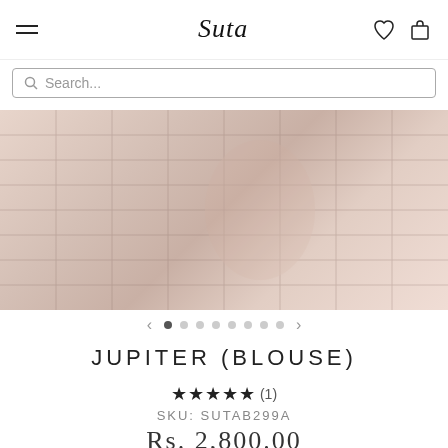Suta logo with hamburger menu, heart icon, and cart icon
Search...
[Figure (photo): Close-up photo of a person wearing a pink/blush checkered grid pattern fabric blouse, showing the torso and hand area with soft, neutral tones.]
JUPITER (BLOUSE)
★★★★★ (1)
SKU: SUTAB299A
Rs. 2,800.00